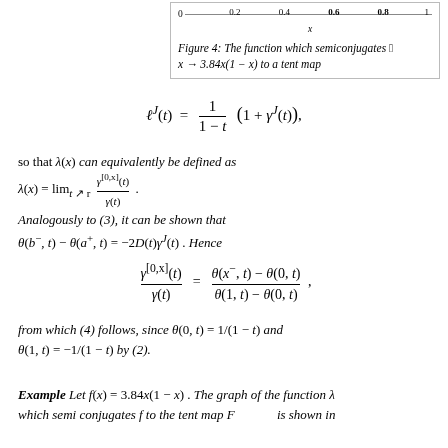Figure 4: The function which semiconjugates x → 3.84x(1 − x) to a tent map
so that λ(x) can equivalently be defined as
Analogously to (3), it can be shown that θ(b⁻,t) − θ(a⁺,t) = −2D(t)γʲ(t). Hence
from which (4) follows, since θ(0,t) = 1/(1 − t) and θ(1,t) = −1/(1 − t) by (2).
Example Let f(x) = 3.84x(1 − x). The graph of the function λ which semi conjugates f to the tent map F is shown in